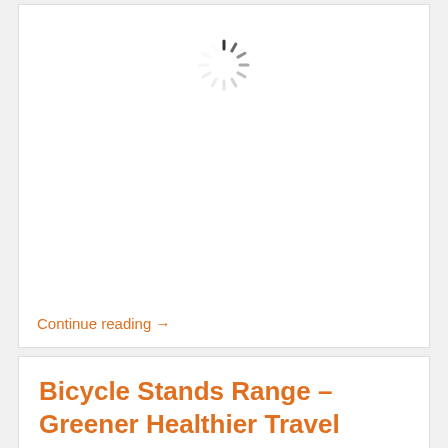[Figure (other): Loading spinner icon (spinning wheel/loading indicator) centered in white card area]
Continue reading →
Bicycle Stands Range – Greener Healthier Travel
Published February 22, 2022 | By John McCormack
We have surely reached the point where we realise that we all need to take steps to add more green or eco-friendly thinking into